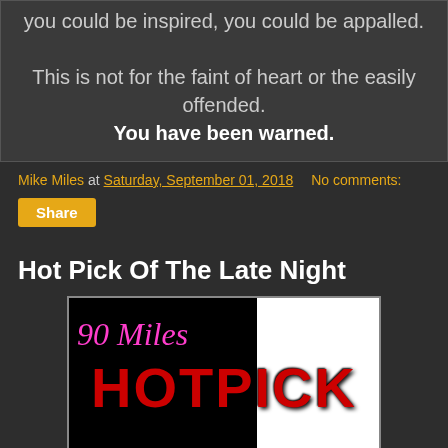you could be inspired, you could be appalled.

This is not for the faint of heart or the easily offended.
You have been warned.
Mike Miles at Saturday, September 01, 2018   No comments:
Share
Hot Pick Of The Late Night
[Figure (illustration): 90 Miles Hot Pick logo image: left half black background with '90 Miles' in pink cursive text, right half white background with 'HOTPICK' in large red distressed grunge lettering]